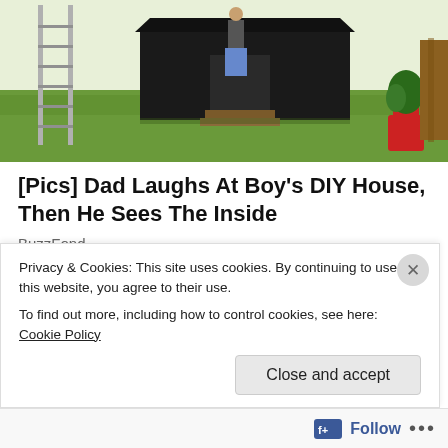[Figure (photo): Outdoor scene showing a DIY house structure with black covering, a person standing in the doorway, a ladder on the left, grass, and a red plant pot]
[Pics] Dad Laughs At Boy's DIY House, Then He Sees The Inside
BuzzFond
[Figure (photo): Two people wearing sunglasses outdoors, a man in a plaid shirt and a woman in blue, with greenery in background]
[Pics] Obama Turns 61 & This Is The House He Lives In
BuzzAura
Privacy & Cookies: This site uses cookies. By continuing to use this website, you agree to their use.
To find out more, including how to control cookies, see here: Cookie Policy
Close and accept
Follow ...